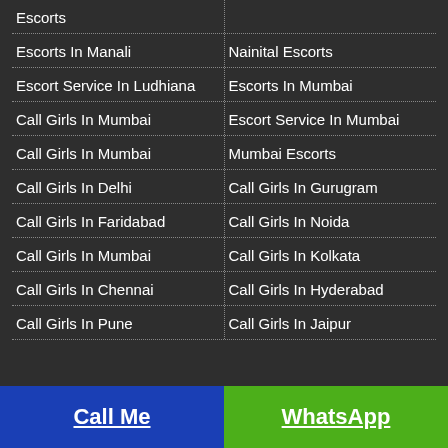Escorts
Escorts In Manali
Nainital Escorts
Escort Service In Ludhiana
Escorts In Mumbai
Call Girls In Mumbai
Escort Service In Mumbai
Call Girls In Mumbai
Mumbai Escorts
Call Girls In Delhi
Call Girls In Gurugram
Call Girls In Faridabad
Call Girls In Noida
Call Girls In Mumbai
Call Girls In Kolkata
Call Girls In Chennai
Call Girls In Hyderabad
Call Girls In Pune
Call Girls In Jaipur
Call Me | WhatsApp